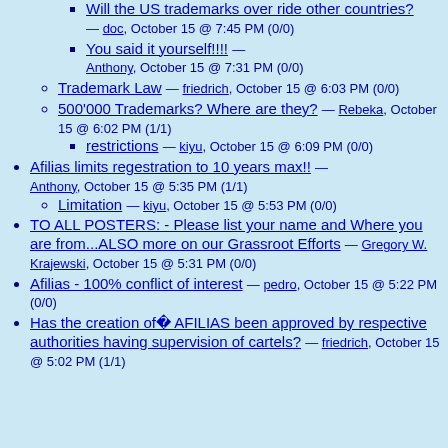Will the US trademarks over ride other countries? — doc, October 15 @ 7:45 PM (0/0)
You said it yourself!!!! — Anthony, October 15 @ 7:31 PM (0/0)
Trademark Law — friedrich, October 15 @ 6:03 PM (0/0)
500'000 Trademarks? Where are they? — Rebeka, October 15 @ 6:02 PM (1/1)
restrictions — kiyu, October 15 @ 6:09 PM (0/0)
Afilias limits regestration to 10 years max!! — Anthony, October 15 @ 5:35 PM (1/1)
Limitation — kiyu, October 15 @ 5:53 PM (0/0)
TO ALL POSTERS:  - Please list your name and Where you are from...ALSO more on our Grassroot Efforts — Gregory W. Krajewski, October 15 @ 5:31 PM (0/0)
Afilias - 100% conflict of interest — pedro, October 15 @ 5:22 PM (0/0)
Has the creation of� AFILIAS been approved by respective authorities having supervision of cartels? — friedrich, October 15 @ 5:02 PM (1/1)